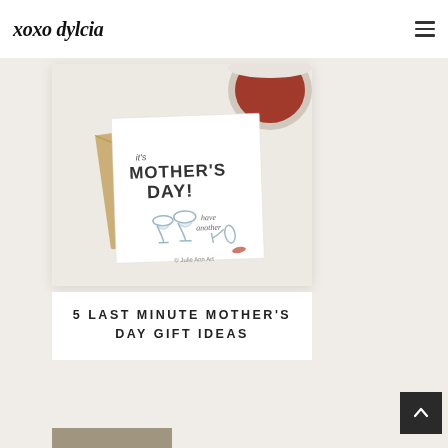DOSTER / 01
xoxo dylcia
[Figure (photo): A Mother's Day greeting card featuring illustrated wine glasses on a white card with kraft envelope, with a glass of red wine in the background. Text on card reads 'it's MOTHER'S DAY! have another' with wine glass illustrations including one tipped over. © Julie Ann Art]
5 LAST MINUTE MOTHER'S DAY GIFT IDEAS
[Figure (photo): Partial image at bottom of page showing a gift or product photo]